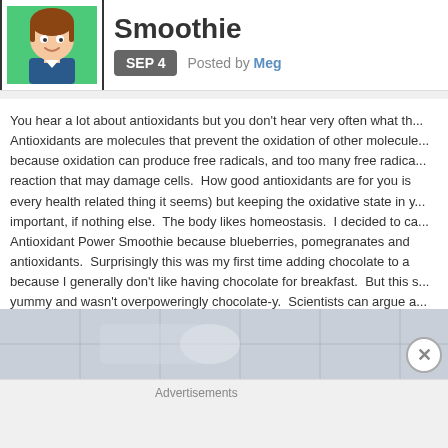[Figure (illustration): Cartoon avatar of a girl with brown hair on green background]
Smoothie
SEP 4   Posted by Meg
You hear a lot about antioxidants but you don't hear very often what th... Antioxidants are molecules that prevent the oxidation of other molecule... because oxidation can produce free radicals, and too many free radica... reaction that may damage cells. How good antioxidants are for you is every health related thing it seems) but keeping the oxidative state in y... important, if nothing else. The body likes homeostasis. I decided to ca... Antioxidant Power Smoothie because blueberries, pomegranates and antioxidants. Surprisingly this was my first time adding chocolate to a because I generally don't like having chocolate for breakfast. But this s... yummy and wasn't overpoweringly chocolate-y. Scientists can argue a... smoothie may or may not be for you, but your taste buds will all agree
[Figure (photo): Partial photo of what appears to be a kitchen counter or tiled surface]
Advertisements